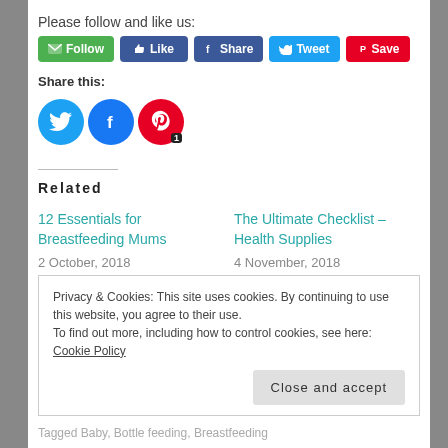Please follow and like us:
[Figure (infographic): Social sharing buttons: Follow (green), Like (blue), Share (dark blue with Facebook icon), Tweet (light blue with Twitter bird), Save (red with Pinterest icon)]
Share this:
[Figure (infographic): Three circular social icons: Twitter (blue), Facebook (blue), Pinterest (red with badge showing '1')]
Related
12 Essentials for Breastfeeding Mums
2 October, 2018
In "Infant feeding"
The Ultimate Checklist – Health Supplies
4 November, 2018
In "New Mum"
Privacy & Cookies: This site uses cookies. By continuing to use this website, you agree to their use.
To find out more, including how to control cookies, see here: Cookie Policy
Close and accept
Tagged Baby, Bottle feeding, Breastfeeding